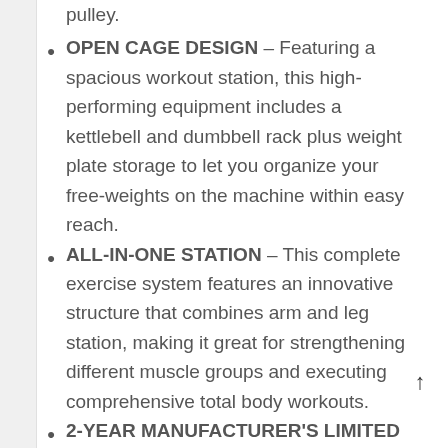pulley.
OPEN CAGE DESIGN – Featuring a spacious workout station, this high-performing equipment includes a kettlebell and dumbbell rack plus weight plate storage to let you organize your free-weights on the machine within easy reach.
ALL-IN-ONE STATION – This complete exercise system features an innovative structure that combines arm and leg station, making it great for strengthening different muscle groups and executing comprehensive total body workouts.
2-YEAR MANUFACTURER'S LIMITED – This workout equipment comes with a two-year limited to let you get the most out of your investment. This reliable gear is to be an excellent addition to your home gym